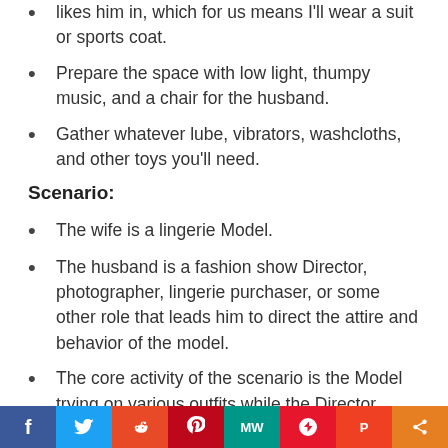likes him in, which for us means I'll wear a suit or sports coat.
Prepare the space with low light, thumpy music, and a chair for the husband.
Gather whatever lube, vibrators, washcloths, and other toys you'll need.
Scenario:
The wife is a lingerie Model.
The husband is a fashion show Director, photographer, lingerie purchaser, or some other role that leads him to direct the attire and behavior of the model.
The core activity of the scenario is the Model trying on various outfits while the Director watches and directs her.
The Director and Model can tease and stimulate
f  🐦  reddit  p  MW  f  P  <